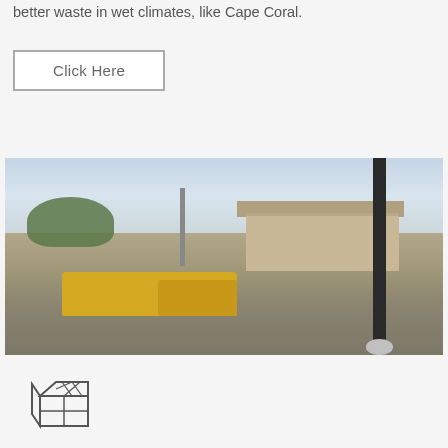better waste in wet climates, like Cape Coral.
[Figure (other): Button with 'Click Here' label, outlined with a rectangular border]
[Figure (photo): Construction site photo showing yellow heavy equipment (motor grader and loader) on gravel, a brick building in the background, trees, overcast sky, a tall dark pole in the foreground right, and construction workers visible.]
[Figure (illustration): Simple line-art icon of a concrete block or masonry unit with diamond pattern on top face]